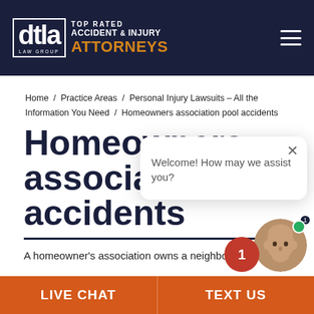[Figure (logo): DTLA Law Group - Top Rated Accident & Injury Attorneys logo with hamburger menu icon]
Home / Practice Areas / Personal Injury Lawsuits – All the Information You Need / Homeowners association pool accidents
Homeowners association accidents
A homeowner's association owns a neighborhood c...
[Figure (screenshot): Chat popup overlay with close button and message: Welcome! How may we assist you?]
LIVE CHAT   TEXT US